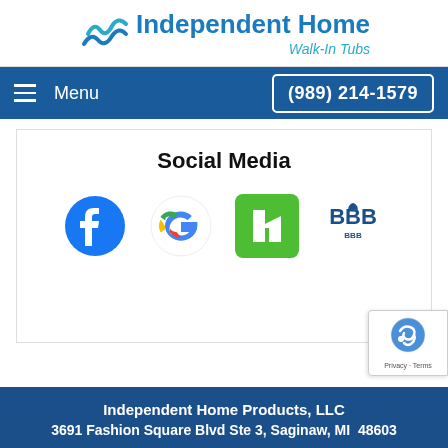[Figure (logo): Independent Home Walk-In Tubs logo with wave icon and blue text]
≡ Menu   (989) 214-1579
Social Media
[Figure (infographic): Row of four social media / review platform icons: Facebook (blue circle with white f), Google (colorful G), Houzz (green square with white H), BBB (Better Business Bureau logo)]
Independent Home Products, LLC
3691 Fashion Square Blvd Ste 3, Saginaw, MI  48603